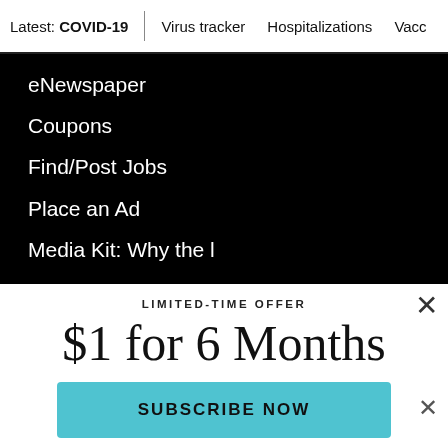Latest: COVID-19 | Virus tracker | Hospitalizations | Vacc
eNewspaper
Coupons
Find/Post Jobs
Place an Ad
Media Kit: Why the l
LIMITED-TIME OFFER
$1 for 6 Months
SUBSCRIBE NOW
By continuing to use our site, you agree to our Terms of Service and Privacy Policy. You can learn more about how we use cookies by reviewing our Privacy Policy. Close